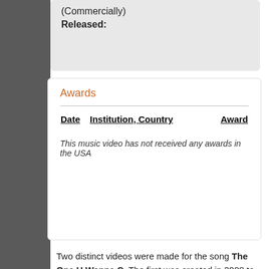(Commercially)
Released:
Awards
| Date | Institution, Country | Award |
| --- | --- | --- |
This music video has not received any awards in the USA
Two distinct videos were made for the song The One U Wanna C. The first was created in 2008 to promote the release of Prince and Randee St. Nicolas' 21 Nights book. The second video has its own entry (see here).
The first video for The One U Wanna C was released two days before the 21 Nights book. The song itself was released as a promotional single the previous year and is not a part of the Indigo Nights live album included with the book. Being a simple slide show with